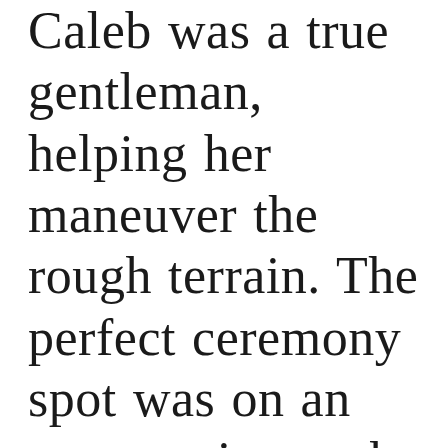Caleb was a true gentleman, helping her maneuver the rough terrain. The perfect ceremony spot was on an outcropping rock with a decent drop on the other side, perfect for: